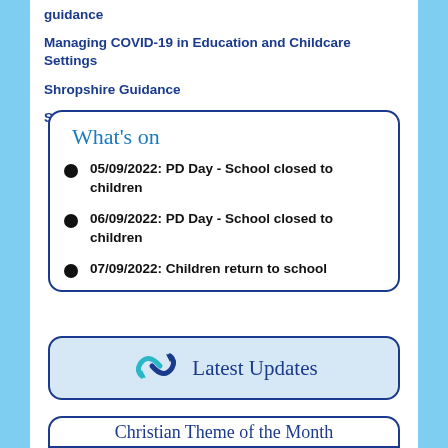guidance
Managing COVID-19 in Education and Childcare Settings
Shropshire Guidance
Step 4 Letter
What's on
05/09/2022: PD Day - School closed to children
06/09/2022: PD Day - School closed to children
07/09/2022: Children return to school
[Figure (infographic): Latest Updates button with refresh/sync icon in blue and teal arrows]
Christian Theme of the Month